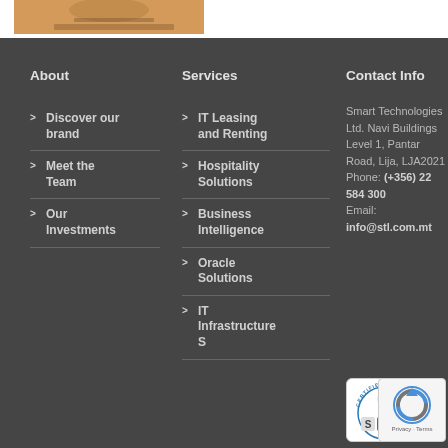[Figure (photo): Partial image of a person writing/studying at a desk, visible at top of page]
About
Discover our brand
Meet the Team
Our Investments
Services
IT Leasing and Renting
Hospitality Solutions
Business Intelligence
Oracle Solutions
IT Infrastructure S...
Contact Info
Smart Technologies Ltd. Navi Buildings Level 1, Pantar Road, Lija, LJA2021 Phone: (+356) 22 584 300 Email: info@stl.com.mt
[Figure (logo): SMC Certified Company badge/logo at bottom right]
[Figure (other): reCAPTCHA privacy badge at bottom right corner]